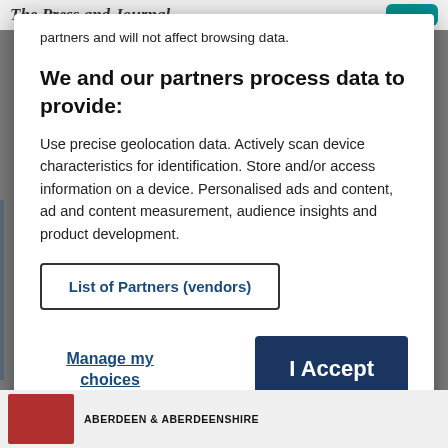The Press and Journal
partners and will not affect browsing data.
We and our partners process data to provide:
Use precise geolocation data. Actively scan device characteristics for identification. Store and/or access information on a device. Personalised ads and content, ad and content measurement, audience insights and product development.
List of Partners (vendors)
Manage my choices
I Accept
ABERDEEN & ABERDEENSHIRE